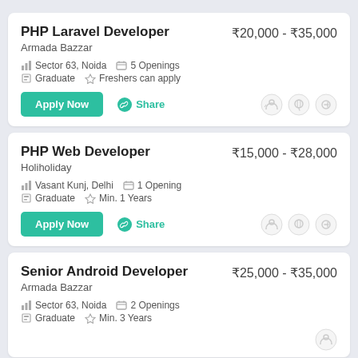PHP Laravel Developer
Armada Bazzar
₹20,000 - ₹35,000
Sector 63, Noida | 5 Openings | Graduate | Freshers can apply
PHP Web Developer
Holiholiday
₹15,000 - ₹28,000
Vasant Kunj, Delhi | 1 Opening | Graduate | Min. 1 Years
Senior Android Developer
Armada Bazzar
₹25,000 - ₹35,000
Sector 63, Noida | 2 Openings | Graduate | Min. 3 Years